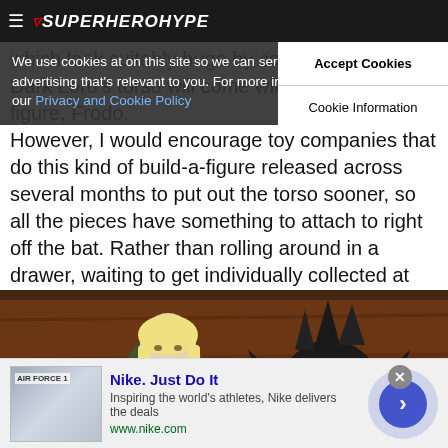SuperHeroHype
We use cookies at on this site so we can serve up content and advertising that's relevant to you. For more information, please visit our Privacy and Cookie Policy
which look suitably huge by comparison. Dark Lord's torso will come with the smallest figure, Frodo. However, I would encourage toy companies that do this kind of build-a-figure released across several months to put out the torso sooner, so all the pieces have something to attach to right off the bat. Rather than rolling around in a drawer, waiting to get individually collected at the end.
[Figure (photo): Two Lord of the Rings action figures on a wooden surface: a light-haired elf figure on the left and a dark armored helmet/head piece on the right]
Nike. Just Do It
Inspiring the world's athletes, Nike delivers the deals
www.nike.com